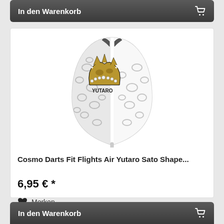In den Warenkorb
[Figure (photo): Cosmo Darts Fit Flights Air Yutaro Sato Shape dart flight — white with leopard print pattern and gold/black crown graphic]
Cosmo Darts Fit Flights Air Yutaro Sato Shape...
6,95 € *
Merken
In den Warenkorb